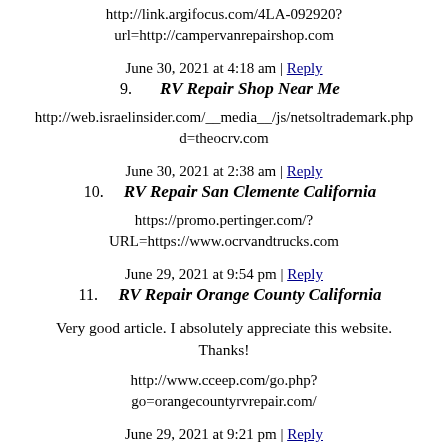http://link.argifocus.com/4LA-092920?url=http://campervanrepairshop.com
June 30, 2021 at 4:18 am | Reply
9. RV Repair Shop Near Me
http://web.israelinsider.com/__media__/js/netsoltrademark.php?d=theocrv.com
June 30, 2021 at 2:38 am | Reply
10. RV Repair San Clemente California
https://promo.pertinger.com/?URL=https://www.ocrvandtrucks.com
June 29, 2021 at 9:54 pm | Reply
11. RV Repair Orange County California
Very good article. I absolutely appreciate this website. Thanks!
http://www.cceep.com/go.php?go=orangecountyrvrepair.com/
June 29, 2021 at 9:21 pm | Reply